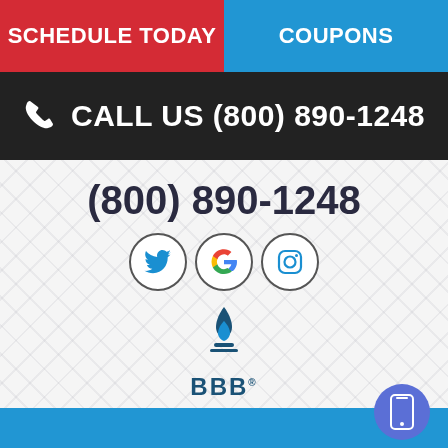SCHEDULE TODAY
COUPONS
CALL US (800) 890-1248
(800) 890-1248
[Figure (infographic): Social media icons: Twitter, Google, Instagram in circular borders]
[Figure (logo): BBB (Better Business Bureau) logo in dark blue]
[Figure (illustration): Mobile phone icon in purple/blue circle button in bottom right corner]